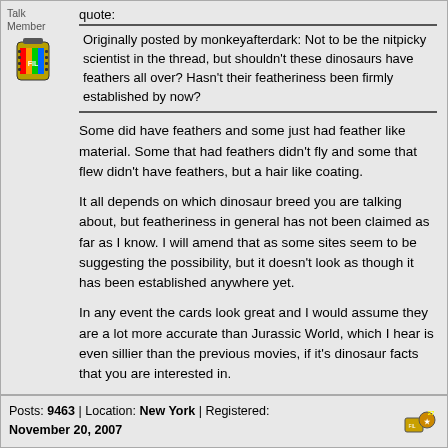Talk
Member
[Figure (illustration): Forum avatar: a film canister with colorful rainbow film strip, labeled FIL]
quote:
Originally posted by monkeyafterdark:
Not to be the nitpicky scientist in the thread, but shouldn't these dinosaurs have feathers all over? Hasn't their featheriness been firmly established by now?
Some did have feathers and some just had feather like material. Some that had feathers didn't fly and some that flew didn't have feathers, but a hair like coating.
It all depends on which dinosaur breed you are talking about, but featheriness in general has not been claimed as far as I know. I will amend that as some sites seem to be suggesting the possibility, but it doesn't look as though it has been established anywhere yet.
In any event the cards look great and I would assume they are a lot more accurate than Jurassic World, which I hear is even sillier than the previous movies, if it's dinosaur facts that you are interested in.
This message has been edited. Last edited by: Raven, June 08, 2015 12:14 PM
Posts: 9463 | Location: New York | Registered: November 20, 2007